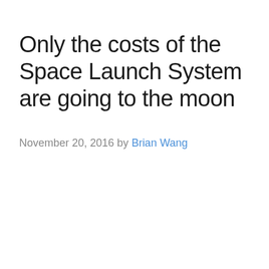Only the costs of the Space Launch System are going to the moon
November 20, 2016 by Brian Wang